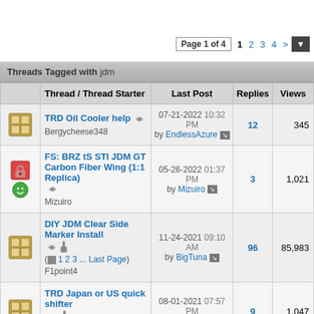Page 1 of 4  1 2 3 4 > ▼
Threads Tagged with jdm
|  | Thread / Thread Starter | Last Post | Replies | Views |
| --- | --- | --- | --- | --- |
| [icon] | TRD Oil Cooler help
Bergycheese348 | 07-21-2022 10:32 PM by EndlessAzure | 12 | 345 |
| [icon] | FS: BRZ tS STI JDM GT Carbon Fiber Wing (1:1 Replica)
Mizuiro | 05-26-2022 01:37 PM by Mizuiro | 3 | 1,021 |
| [icon] | DIY JDM Clear Side Marker Install (1 2 3 ... Last Page)
F1point4 | 11-24-2021 09:10 AM by BigTuna | 96 | 85,983 |
| [icon] | TRD Japan or US quick shifter
Bergycheese348 | 08-01-2021 07:57 PM by weederr33 | 9 | 1,047 |